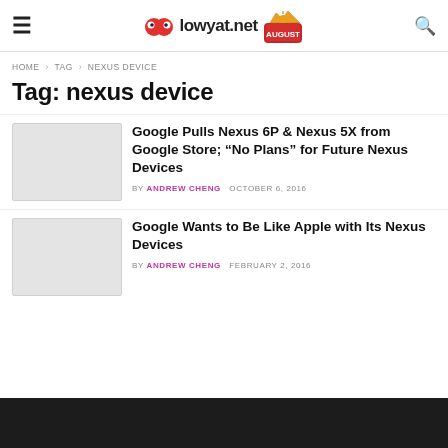lowyat.net AUGUST
HOME > TAG > NEXUS DEVICE
Tag: nexus device
Google Pulls Nexus 6P & Nexus 5X from Google Store; "No Plans" for Future Nexus Devices | BY ANDREW CHENG  OCTOBER 6, 2016
Google Wants to Be Like Apple with Its Nexus Devices | BY ANDREW CHENG  FEBRUARY 2, 2016